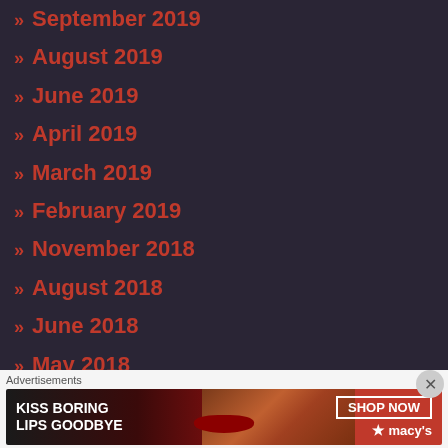» September 2019
» August 2019
» June 2019
» April 2019
» March 2019
» February 2019
» November 2018
» August 2018
» June 2018
» May 2018
» April 2018
» March 2018
Advertisements
[Figure (photo): Macy's advertisement banner: 'KISS BORING LIPS GOODBYE' with SHOP NOW button and Macy's star logo, featuring a woman's face with red lips]